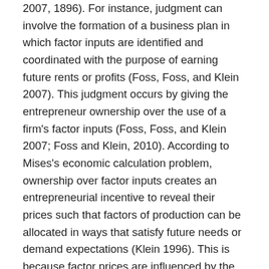2007, 1896). For instance, judgment can involve the formation of a business plan in which factor inputs are identified and coordinated with the purpose of earning future rents or profits (Foss, Foss, and Klein 2007). This judgment occurs by giving the entrepreneur ownership over the use of a firm's factor inputs (Foss, Foss, and Klein 2007; Foss and Klein, 2010). According to Mises's economic calculation problem, ownership over factor inputs creates an entrepreneurial incentive to reveal their prices such that factors of production can be allocated in ways that satisfy future needs or demand expectations (Klein 1996). This is because factor prices are influenced by the varied uses of an input, which gives owners of capital a strong incentive to reveal their factor input's valued uses (see also Bylund 2016; Klein 1996). The challenge, however, is that these valued uses are known only by members who have an intimate or particular understanding of a factor's varied uses (Hayek 1945). Hence, judgment suggests that owners of capital have a strong incentive to encourage their employees to utilize their knowledge of particulars to